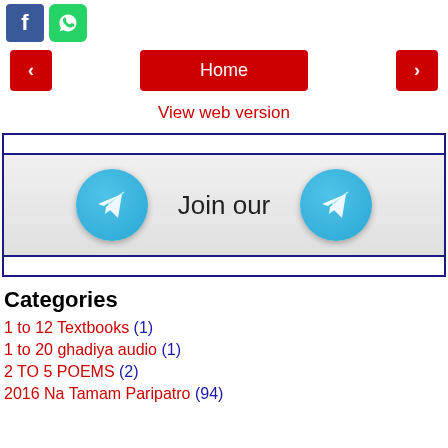[Figure (screenshot): Facebook and WhatsApp social media icon buttons at top left]
[Figure (screenshot): Navigation row with red left arrow button, red Home button, and red right arrow button]
View web version
[Figure (screenshot): Telegram Join our channel widget with two Telegram icons and 'Join our' text, inside a bordered box]
Categories
1 to 12 Textbooks (1)
1 to 20 ghadiya audio (1)
2 TO 5 POEMS (2)
2016 Na Tamam Paripatro (94)